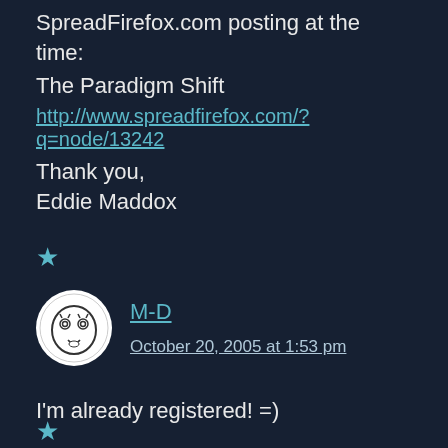SpreadFirefox.com posting at the time:
The Paradigm Shift
http://www.spreadfirefox.com/?q=node/13242
Thank you,
Eddie Maddox
★
M-D
October 20, 2005 at 1:53 pm
I'm already registered! =)
★